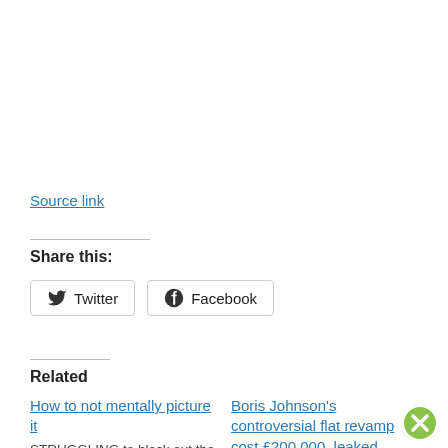Source link
Share this:
Twitter  Facebook
Related
How to not mentally picture it
STRUGGLING to block out the mental image of Corrie...
Boris Johnson's controversial flat revamp cost £200,000, leaked invoice suggests...